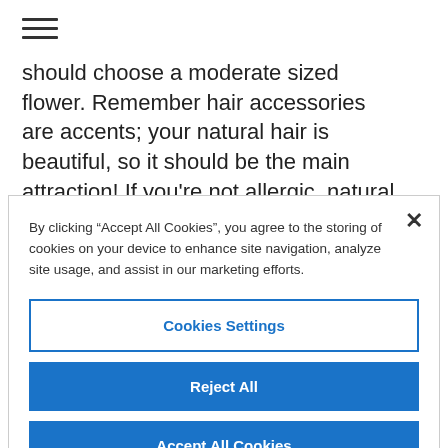[Figure (other): Hamburger menu icon (three horizontal bars)]
should choose a moderate sized flower. Remember hair accessories are accents; your natural hair is beautiful, so it should be the main attraction! If you’re not allergic, natural flowers are a nice touch. Artificial flowers can be used for both a casual or dressy look. My favorite is printed petals. They all—
[Figure (logo): Facebook circular icon button (blue circle with white 'f' logo)]
By clicking “Accept All Cookies”, you agree to the storing of cookies on your device to enhance site navigation, analyze site usage, and assist in our marketing efforts.
Cookies Settings
Reject All
Accept All Cookies